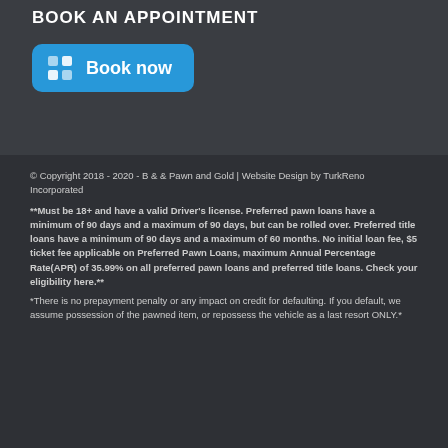BOOK AN APPOINTMENT
[Figure (other): Blue rounded button with grid icon and 'Book now' text]
© Copyright 2018 - 2020 - B & & Pawn and Gold | Website Design by TurkReno Incorporated
**Must be 18+ and have a valid Driver's license. Preferred pawn loans have a minimum of 90 days and a maximum of 90 days, but can be rolled over. Preferred title loans have a minimum of 90 days and a maximum of 60 months. No initial loan fee, $5 ticket fee applicable on Preferred Pawn Loans, maximum Annual Percentage Rate(APR) of 35.99% on all preferred pawn loans and preferred title loans. Check your eligibility here.**
*There is no prepayment penalty or any impact on credit for defaulting. If you default, we assume possession of the pawned item, or repossess the vehicle as a last resort ONLY.*